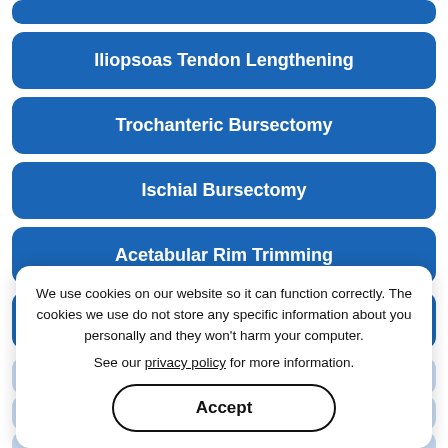Iliopsoas Tendon Lengthening
Trochanteric Bursectomy
Ischial Bursectomy
Acetabular Rim Trimming
Hip Fracture ORIF
Hip Cartilage Repair
Hip Capsular Closure
Arthroscopic Gluteus Medius Tendon Repair
We use cookies on our website so it can function correctly. The cookies we use do not store any specific information about you personally and they won't harm your computer.
See our privacy policy for more information.
Accept